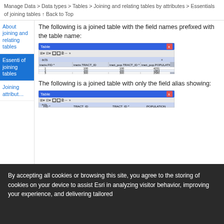Manage Data > Data types > Tables > Joining and relating tables by attributes > Essentials of joining tables ↑ Back to Top
The following is a joined table with the field names prefixed with the table name:
[Figure (screenshot): Screenshot of a Table dialog showing a joined table with columns: tracts.FID, tracts.TRACT_ID, tract_pop.TRACT_ID, tract_pop.POPULATION with rows showing values 1/100/100/4231, 2/200/200/1883, 3/300/300/2580]
The following is a joined table with only the field alias showing:
[Figure (screenshot): Screenshot of a Table dialog showing a joined table with only field aliases: FID, TRACT_ID, TRACT_ID, POPULATION - partially visible]
By accepting all cookies or browsing this site, you agree to the storing of cookies on your device to assist Esri in analyzing visitor behavior, improving your experience, and delivering tailored